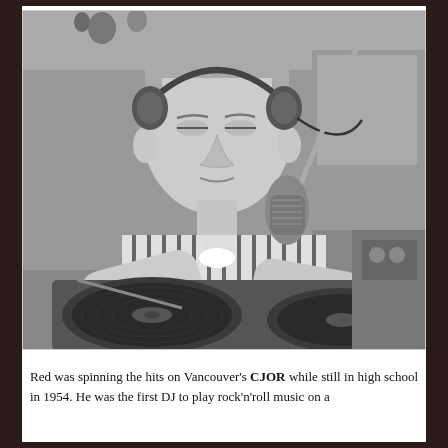[Figure (photo): Black and white photograph of a young man wearing headphones and a striped short-sleeve shirt, leaning over a turntable/record player in a radio studio. A microphone on a boom stand is in front of him. He appears to be cueing a record.]
Red was spinning the hits on Vancouver's CJOR while still in high school in 1954. He was the first DJ to play rock'n'roll music on a